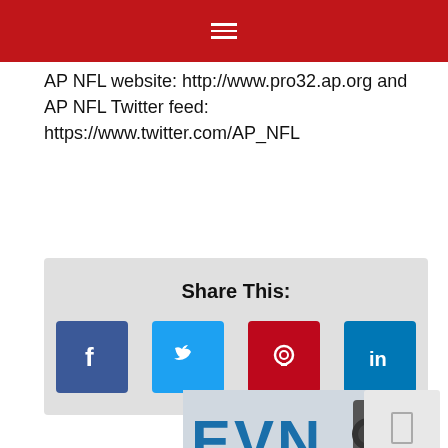AP NFL website: http://www.pro32.ap.org and AP NFL Twitter feed: https://www.twitter.com/AP_NFL
Share This:
[Figure (infographic): Social share buttons: Facebook (blue), Twitter (light blue), Pinterest (dark red), LinkedIn (blue)]
[Figure (photo): Partial image at bottom showing 'EVN' text in large blue letters, appears to be a news logo or banner, with a camera visible at right edge]